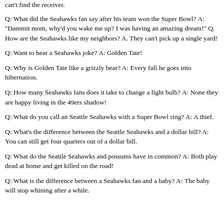can't find the receiver.
Q: What did the Seahawks fan say after his team won the Super Bowl? A: "Dammit mom, why'd you wake me up? I was having an amazing dream!" Q. How are the Seahawks like my neighbors? A. They can't pick up a single yard!
Q: Want to hear a Seahawks joke? A: Golden Tate!
Q: Why is Golden Tate like a grizzly bear? A: Every fall he goes into hibernation.
Q: How many Seahawks fans does it take to change a light bulb? A: None they are happy living in the 49ers shadow!
Q: What do you call an Seattle Seahawks with a Super Bowl ring? A: A thief.
Q: What's the difference between the Seattle Seahawks and a dollar bill? A: You can still get four quarters out of a dollar bill.
Q: What do the Seattle Seahawks and possums have in common? A: Both play dead at home and get killed on the road!
Q: What is the difference between a Seahawks fan and a baby? A: The baby will stop whining after a while.